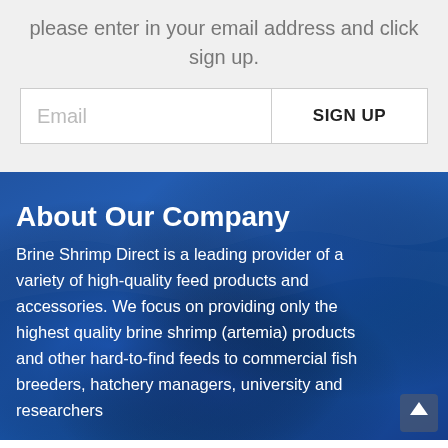please enter in your email address and click sign up.
Email  SIGN UP
[Figure (photo): Blue ocean/water background photo used as section background]
About Our Company
Brine Shrimp Direct is a leading provider of a variety of high-quality feed products and accessories. We focus on providing only the highest quality brine shrimp (artemia) products and other hard-to-find feeds to commercial fish breeders, hatchery managers, university and researchers